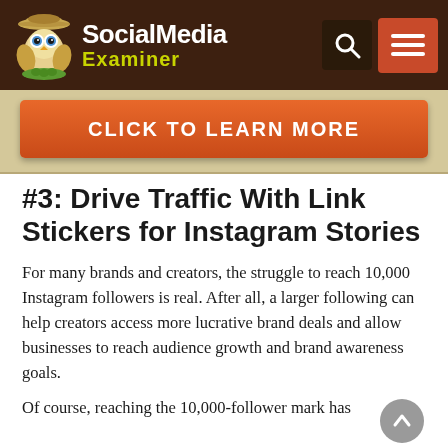Social Media Examiner
[Figure (logo): Social Media Examiner logo with cartoon explorer mascot owl and text 'SocialMedia Examiner' in white and yellow-green on dark brown background, with search and hamburger menu icons]
[Figure (infographic): Orange/red CTA button reading CLICK TO LEARN MORE on a tan/khaki background banner]
#3: Drive Traffic With Link Stickers for Instagram Stories
For many brands and creators, the struggle to reach 10,000 Instagram followers is real. After all, a larger following can help creators access more lucrative brand deals and allow businesses to reach audience growth and brand awareness goals.
Of course, reaching the 10,000-follower mark has